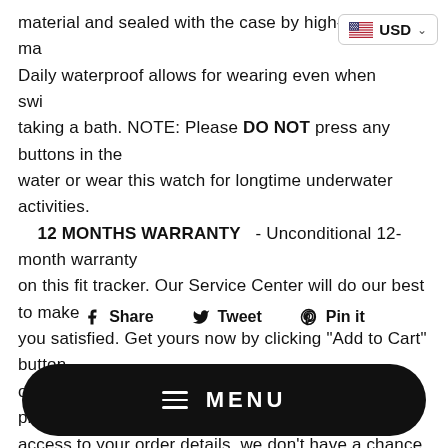material and sealed with the case by high-frequency machine. Daily waterproof allows for wearing even when swimming or taking a bath. NOTE: Please DO NOT press any buttons in the water or wear this watch for longtime underwater activities.
    12 MONTHS WARRANTY   - Unconditional 12-month warranty on this fit tracker. Our Service Center will do our best to make you satisfied. Get yours now by clicking "Add to Cart" button on the right. ( From your review, Amazon do not provide the access to your order details, we don't have a chance to contact you to solve your issues. If you need any help please email me ).
[Figure (infographic): Social sharing buttons: Share (Facebook), Tweet (Twitter), Pin it (Pinterest)]
[Figure (infographic): Dark rounded rectangle navigation bar with hamburger menu icon and MENU text label]